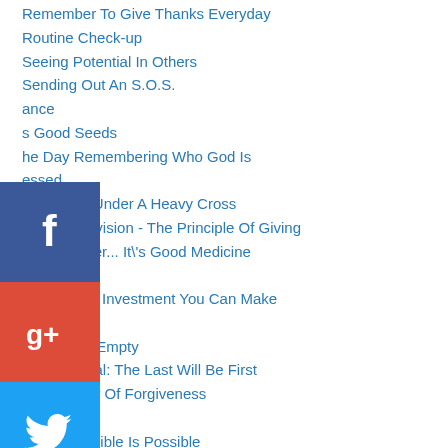Remember To Give Thanks Everyday
Routine Check-up
Seeing Potential In Others
Sending Out An S.O.S.
...ance
...s Good Seeds
...he Day Remembering Who God Is
...essed
Stumbling Under A Heavy Cross
...natural Provision - The Principle Of Giving
...our Laughter... It\'s Good Medicine
...You Lord
...st Financial Investment You Can Make
The Brick
...ass Is Half Empty
...eat Reversal: The Last Will Be First
...aling Power Of Forgiveness
...ly Alphabet
The Impossible Is Possible
...ost Damaging Lies
The Most Important Part Of Your Day
[Figure (infographic): Social media sharing icons: Facebook (blue), Google+ (red), Twitter (blue), Pinterest (red), Blogger (orange), YouTube (red), More/ellipsis (gray)]